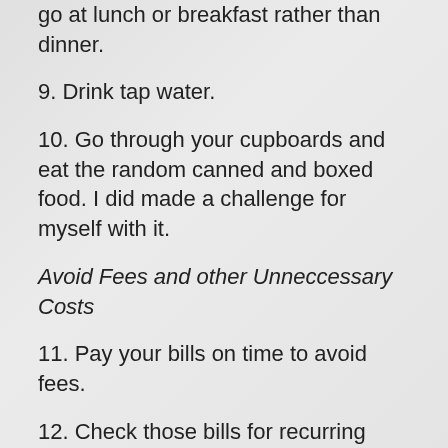go at lunch or breakfast rather than dinner.
9. Drink tap water.
10. Go through your cupboards and eat the random canned and boxed food. I did made a challenge for myself with it.
Avoid Fees and other Unneccessary Costs
11. Pay your bills on time to avoid fees.
12. Check those bills for recurring subscriptions you